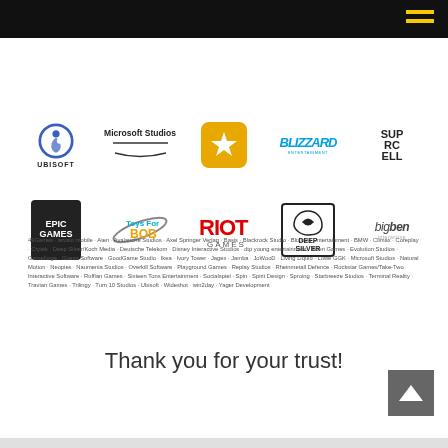[Figure (logo): Grid of partner company logos: Ubisoft, Microsoft Studios, Rockstar Games, Blizzard Entertainment, Supercell, Epic Games, Toys For Bob, Riot Games, Deep Silver, Bigben Interactive]
49Games · arvato mobile · Aten · Avalanche Studios · Axel Springer Verlag · Basis · Blackrock Studio · Blizzard Entertainment · BMW · Climax · Coreplay · Crytek · Deep Silver/Koch Media · Deutsche Telekom · Disney Interactive Studios · dtp young entertainment · Eden Games · Evolution Studios · Gameforge · Giants Software · GoodGame Studio · Ikea · Ivory Tower · Jagex · Jamba · JoWooD · Living Liquid · Lowe GGK · Microsoft Studios · Natural Motion · Neopies · Naumenia Studios · Overkill Software · Playground Games · Replay Studios · Rheinmetall Defence · Rockstar Games/Take-Two Interactive Software · Ruffian Games · Sixteen Tons Entertainment · Socialspiel · Spin · Spirit Design · Sproing · Starbreeze Studios · Terminal Reality · Travian Games · Trilingy · Turn 10 Studios · Ubisoft · Wideshot · win2day · Yager Development
Thank you for your trust!